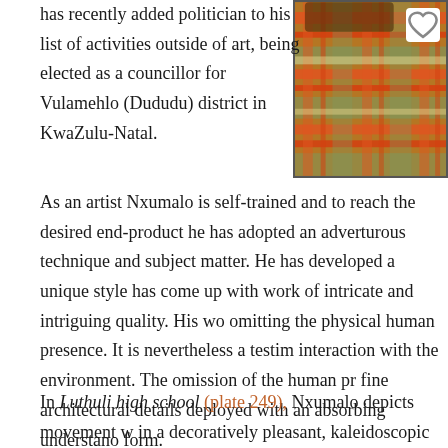has recently added politician to his list of activities outside of art, being elected as a councillor for Vulamehlo (Dududu) district in KwaZulu-Natal.
[Figure (photo): Close-up photograph of colourful plaid/tartan fabric in red, orange, green and cream tones, with a white heart-button overlay in the top-right corner.]
As an artist Nxumalo is self-trained and to reach the desired end-product he has adopted an adventurous technique and subject matter. He has developed a unique style has come up with work of intricate and intriguing quality. His work omitting the physical human presence. It is nevertheless a testimony interaction with the environment. The omission of the human presence fine architectural details deployed with an absorbing understanding form.
In Luthuli high school (plate 249), Nxumalo depicts movement with in a decoratively pleasant, kaleidoscopic kitsch style. Buildings